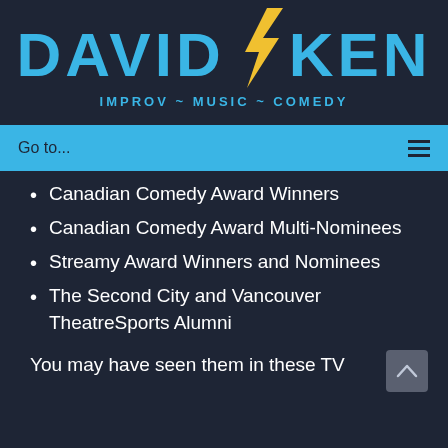DAVID ⚡ KEN
IMPROV ~ MUSIC ~ COMEDY
Go to...
Canadian Comedy Award Winners
Canadian Comedy Award Multi-Nominees
Streamy Award Winners and Nominees
The Second City and Vancouver TheatreSports Alumni
You may have seen them in these TV